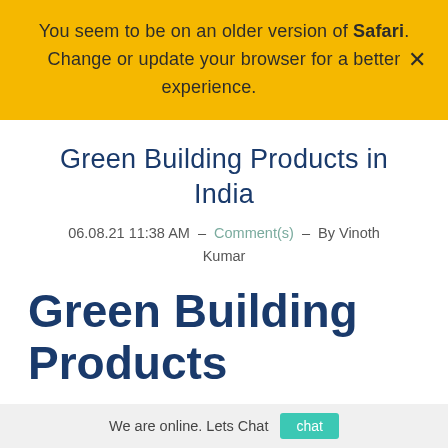You seem to be on an older version of Safari. Change or update your browser for a better experience.
Green Building Products in India
06.08.21 11:38 AM  -  Comment(s)  -  By Vinoth Kumar
Green Building Products in India: Who Are the
We are online. Lets Chat  chat